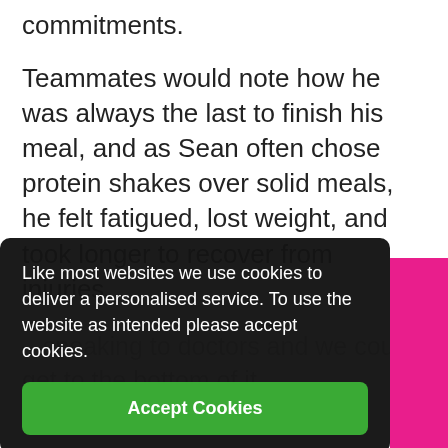commitments.
Teammates would note how he was always the last to finish his meal, and as Sean often chose protein shakes over solid meals, he felt fatigued, lost weight, and took longer to recover from injuries.
speaking to doctors and we couldn't get to the bottom of it.
Like most websites we use cookies to deliver a personalised service. To use the website as intended please accept cookies.
Accept Cookies